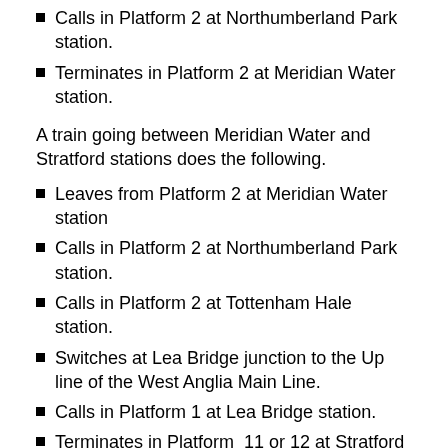Calls in Platform 2 at Northumberland Park station.
Terminates in Platform 2 at Meridian Water station.
A train going between Meridian Water and Stratford stations does the following.
Leaves from Platform 2 at Meridian Water station
Calls in Platform 2 at Northumberland Park station.
Calls in Platform 2 at Tottenham Hale station.
Switches at Lea Bridge junction to the Up line of the West Anglia Main Line.
Calls in Platform 1 at Lea Bridge station.
Terminates in Platform  11 or 12 at Stratford station.
The track layout can probably handle a maximum of two tph.
I suspect the upgrade will build on this layout to allow a